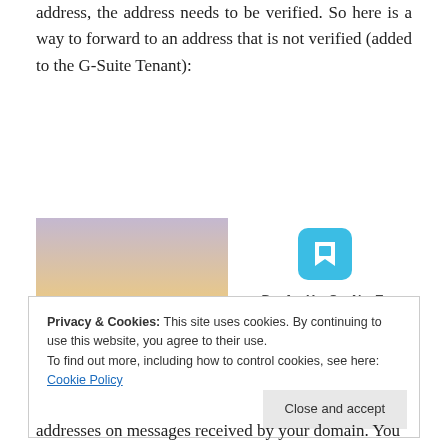In order for Gmail to send a message to a forwarding address, the address needs to be verified. So here is a way to forward to an address that is not verified (added to the G-Suite Tenant):
[Figure (photo): Photo of a person from behind holding up a phone/camera toward a sky with warm light, alongside a Day One Journal advertisement showing the app icon, logo, Over 150,000 5-star reviews, and five stars.]
Privacy & Cookies: This site uses cookies. By continuing to use this website, you agree to their use.
To find out more, including how to control cookies, see here: Cookie Policy
addresses on messages received by your domain. You